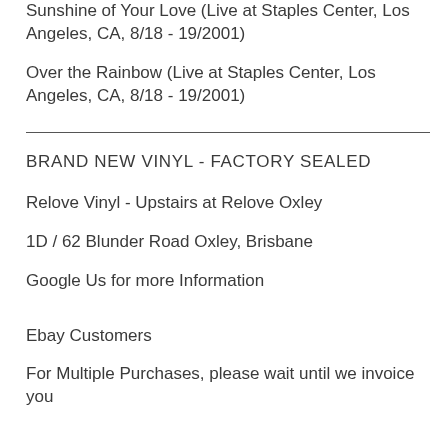Sunshine of Your Love (Live at Staples Center, Los Angeles, CA, 8/18 - 19/2001)
Over the Rainbow (Live at Staples Center, Los Angeles, CA, 8/18 - 19/2001)
BRAND NEW VINYL - FACTORY SEALED
Relove Vinyl - Upstairs at Relove Oxley
1D / 62 Blunder Road Oxley, Brisbane
Google Us for more Information
Ebay Customers
For Multiple Purchases, please wait until we invoice you